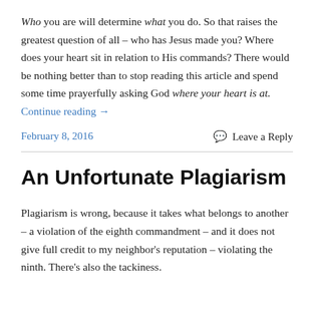Who you are will determine what you do. So that raises the greatest question of all – who has Jesus made you? Where does your heart sit in relation to His commands? There would be nothing better than to stop reading this article and spend some time prayerfully asking God where your heart is at. Continue reading →
February 8, 2016
Leave a Reply
An Unfortunate Plagiarism
Plagiarism is wrong, because it takes what belongs to another – a violation of the eighth commandment – and it does not give full credit to my neighbor's reputation – violating the ninth. There's also the tackiness.